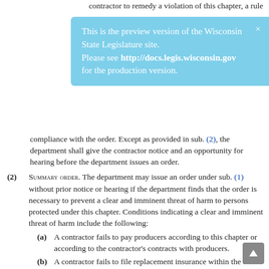contractor to remedy a violation of this chapter, a rule
This is the preview version of the Wisconsin State Legislature site. Please see http://docs.legis.wisconsin.gov for the production version.
compliance with the order. Except as provided in sub. (2), the department shall give the contractor notice and an opportunity for hearing before the department issues an order.
(2) SUMMARY ORDER. The department may issue an order under sub. (1) without prior notice or hearing if the department finds that the order is necessary to prevent a clear and imminent threat of harm to persons protected under this chapter. Conditions indicating a clear and imminent threat of harm include the following:
(a) A contractor fails to pay producers according to this chapter or according to the contractor's contracts with producers.
(b) A contractor fails to file replacement insurance within the time required under this chapter.
(c) A contractor fails to file security according to this chapter, or in response to the department's demand under this chapter.
(d) A contractor fails to pay a fund assessment when due.
(e) A vegetable contractor fails to pay vegetable producers by January 31 for vegetables delivered by December 31 of